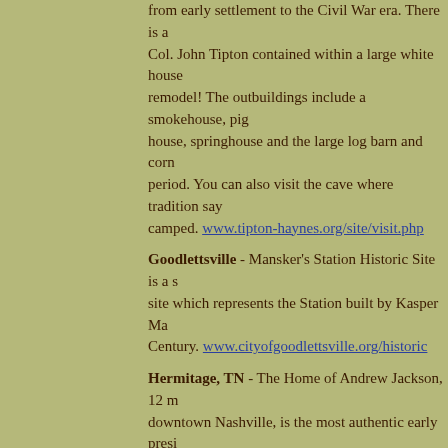from early settlement to the Civil War era. There is a Col. John Tipton contained within a large white house remodel! The outbuildings include a smokehouse, pig house, springhouse and the large log barn and corn period. You can also visit the cave where tradition say camped. www.tipton-haynes.org/site/visit.php
Goodlettsville - Mansker's Station Historic Site is a site which represents the Station built by Kasper Ma Century. www.cityofgoodlettsville.org/historic
Hermitage, TN - The Home of Andrew Jackson, 12 m downtown Nashville, is the most authentic early presi America, where you'll be a honored guest in the Jack the formal garden, slave quarters, and the original log occupied in 1804. The Hermitage which is an 1,100-a once home to 150 enslaved African Americans who w cultivated the gardens, tended livestock, baled cotton and its guests, and met countless other needs of the stories about these people are really interesting. theh
Where would you like to go next?
...see Michigan historic cabins to visit
...learn about building your own cabin
...return home from The Best Old Cabins in Tennessee
There are so many more Tennessee cabins to see and visit. If y you tell me about it? Please include as much of the following inf
Cabin location and directions, photos and/or website (if available your notes about this cabin.